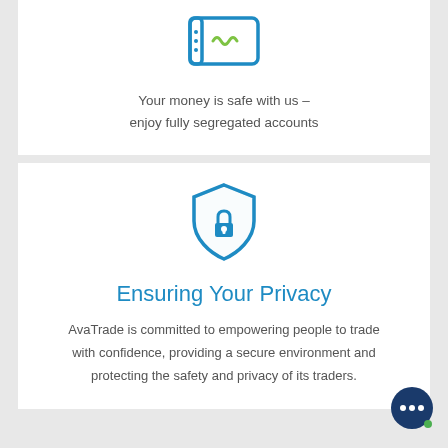[Figure (illustration): Icon of a card/book with a tilde symbol, in blue outline style, representing a segregated account]
Your money is safe with us – enjoy fully segregated accounts
[Figure (illustration): Blue shield icon with a padlock in the center, representing security and privacy]
Ensuring Your Privacy
AvaTrade is committed to empowering people to trade with confidence, providing a secure environment and protecting the safety and privacy of its traders.